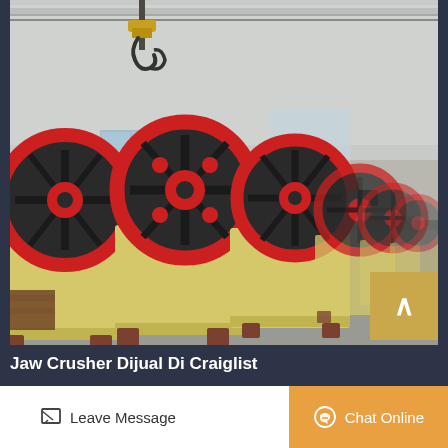[Figure (photo): Multiple yellow jaw crusher machines with black and red flywheels lined up in a factory/warehouse setting with concrete floor and metal roof structure. A crane hook is visible at the top left.]
Jaw Crusher Dijual Di Craiglist
Jaw crusher dijual di craiglist crai...